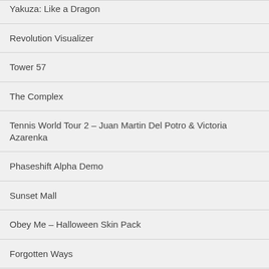Yakuza: Like a Dragon
Revolution Visualizer
Tower 57
The Complex
Tennis World Tour 2 – Juan Martin Del Potro & Victoria Azarenka
Phaseshift Alpha Demo
Sunset Mall
Obey Me – Halloween Skin Pack
Forgotten Ways